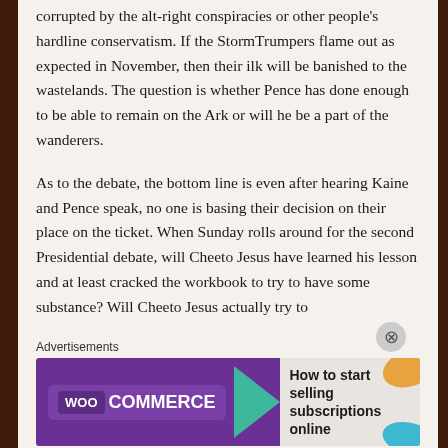corrupted by the alt-right conspiracies or other people's hardline conservatism. If the StormTrumpers flame out as expected in November, then their ilk will be banished to the wastelands. The question is whether Pence has done enough to be able to remain on the Ark or will he be a part of the wanderers.
As to the debate, the bottom line is even after hearing Kaine and Pence speak, no one is basing their decision on their place on the ticket. When Sunday rolls around for the second Presidential debate, will Cheeto Jesus have learned his lesson and at least cracked the workbook to try to have some substance? Will Cheeto Jesus actually try to
Advertisements
[Figure (other): WooCommerce advertisement banner: purple background with WooCommerce logo on left, teal arrow shape, and text 'How to start selling subscriptions online' on right with orange and blue decorative leaf shapes]